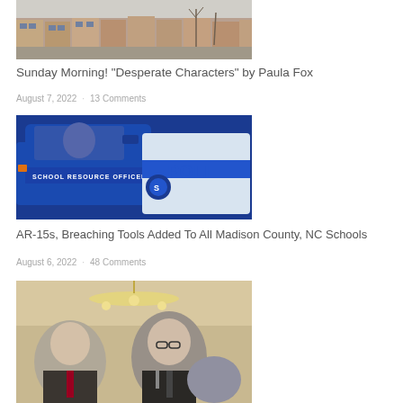[Figure (photo): Row of brownstone buildings on a street, winter, bare trees]
Sunday Morning! "Desperate Characters" by Paula Fox
August 7, 2022   ·   13 Comments
[Figure (photo): Blue police truck labeled 'School Resource Officer' next to a police car with 'POLI' visible]
AR-15s, Breaching Tools Added To All Madison County, NC Schools
August 6, 2022   ·   48 Comments
[Figure (photo): Two men at a press conference under a chandelier, partially cropped]